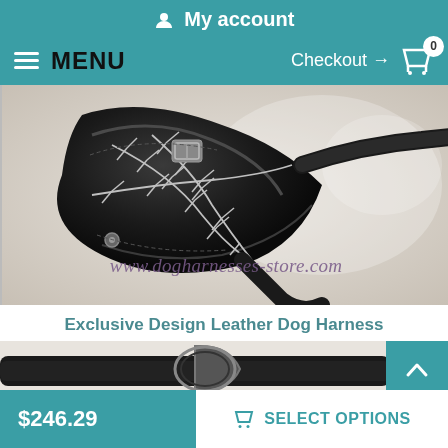My account
MENU   Checkout → 0
[Figure (photo): Close-up photo of an exclusive design leather dog harness with barbed wire decorative stitching pattern, silver hardware, on a white background. Watermark: www.dogharnesses-store.com]
Exclusive Design Leather Dog Harness
[Figure (photo): Partial view of a second leather dog product, showing metal D-ring hardware]
$246.29   SELECT OPTIONS